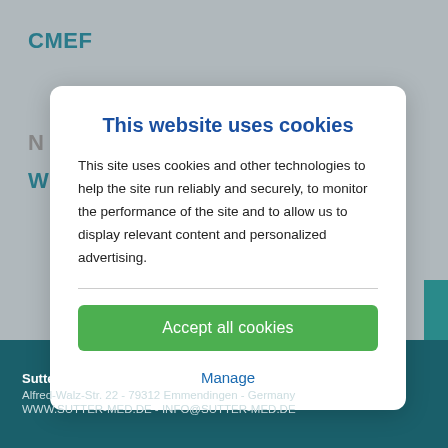CMEF
[Figure (screenshot): Cookie consent modal overlay on a website. Contains title 'This website uses cookies', descriptive text, a green 'Accept all cookies' button, and a 'Manage' link.]
This website uses cookies
This site uses cookies and other technologies to help the site run reliably and securely, to monitor the performance of the site and to allow us to display relevant content and personalized advertising.
Accept all cookies
Manage
Sutter Medizintechnik GmbH
Alfred-Walz-Str. 22 - 79312 Emmendingen - Germany
WWW.SUTTER-MED.DE - INFO@SUTTER-MED.DE